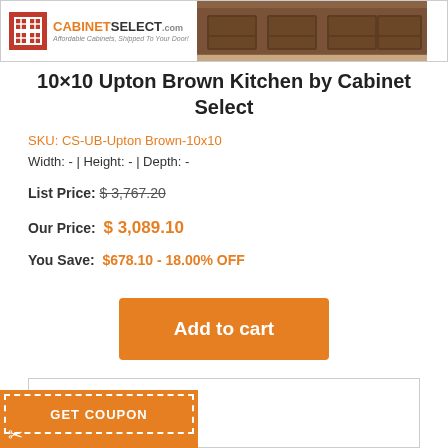[Figure (logo): CabinetSelect.com logo with red icon and kitchen cabinet photo banner]
10×10 Upton Brown Kitchen by Cabinet Select
SKU: CS-UB-Upton Brown-10x10
Width: - | Height: - | Depth: -
List Price: $ 3,767.20
Our Price: $ 3,089.10
You Save: $678.10 - 18.00% OFF
Add to cart
[Figure (other): Bottom content box area]
[Figure (infographic): GET COUPON orange banner with dashed border and scissors icon]